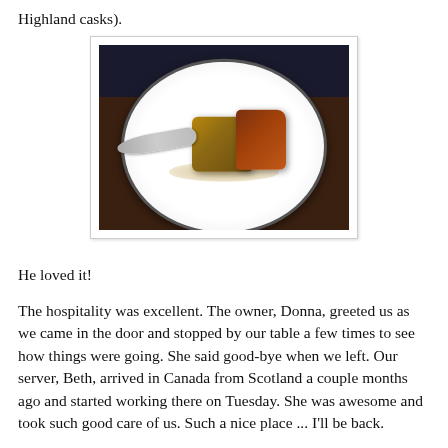Highland casks).
[Figure (photo): A white plate with two pieces of bread pudding or similar baked dessert with sauce, and a spoon on the left side of the plate, set on a dark wooden table.]
He loved it!
The hospitality was excellent. The owner, Donna, greeted us as we came in the door and stopped by our table a few times to see how things were going. She said good-bye when we left. Our server, Beth, arrived in Canada from Scotland a couple months ago and started working there on Tuesday. She was awesome and took such good care of us. Such a nice place ... I’ll be back.